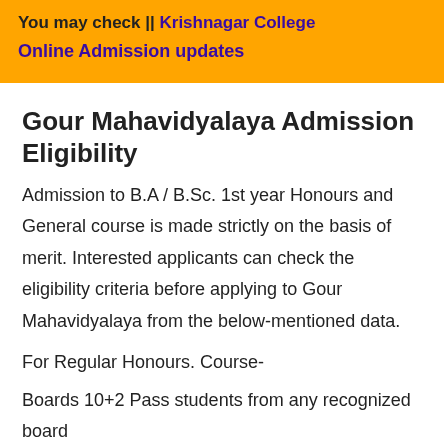You may check || Krishnagar College Online Admission updates
Gour Mahavidyalaya Admission Eligibility
Admission to B.A / B.Sc. 1st year Honours and General course is made strictly on the basis of merit. Interested applicants can check the eligibility criteria before applying to Gour Mahavidyalaya from the below-mentioned data.
For Regular Honours. Course-
Boards 10+2 Pass students from any recognized board